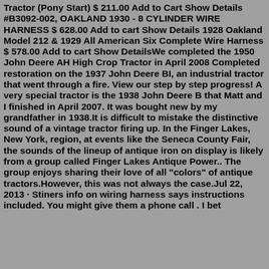Tractor (Pony Start) $ 211.00 Add to Cart Show Details #B3092-002, OAKLAND 1930 - 8 CYLINDER WIRE HARNESS $ 628.00 Add to cart Show Details 1928 Oakland Model 212 & 1929 All American Six Complete Wire Harness $ 578.00 Add to cart Show DetailsWe completed the 1950 John Deere AH High Crop Tractor in April 2008 Completed restoration on the 1937 John Deere BI, an industrial tractor that went through a fire. View our step by step progress! A very special tractor is the 1938 John Deere B that Matt and I finished in April 2007. It was bought new by my grandfather in 1938.It is difficult to mistake the distinctive sound of a vintage tractor firing up. In the Finger Lakes, New York, region, at events like the Seneca County Fair, the sounds of the lineup of antique iron on display is likely from a group called Finger Lakes Antique Power.. The group enjoys sharing their love of all "colors" of antique tractors.However, this was not always the case.Jul 22, 2013 · Stiners info on wiring harness says instructions included. You might give them a phone call . I bet